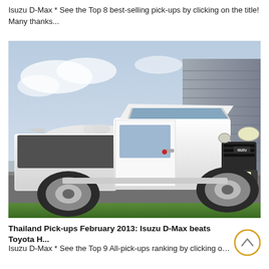Isuzu D-Max * See the Top 8 best-selling pick-ups by clicking on the title! Many thanks...
[Figure (photo): White Isuzu D-Max single cab pickup truck with licence plate BV62 KUU parked on tarmac with a private jet and industrial building in background]
Thailand Pick-ups February 2013: Isuzu D-Max beats Toyota H...
Isuzu D-Max * See the Top 9 All-pick-ups ranking by clicking on the ti... ...